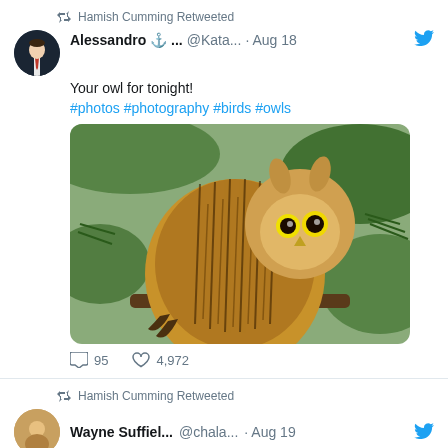Hamish Cumming Retweeted
Alessandro ⚓ ... @Kata... · Aug 18
Your owl for tonight!
#photos #photography #birds #owls
[Figure (photo): A great horned owl perched in a tree with green pine branches, looking sideways at the camera with bright yellow eyes. Close-up nature photography.]
💬 95  ♡ 4,972
Hamish Cumming Retweeted
Wayne Suffiel... @chala... · Aug 19
Pages